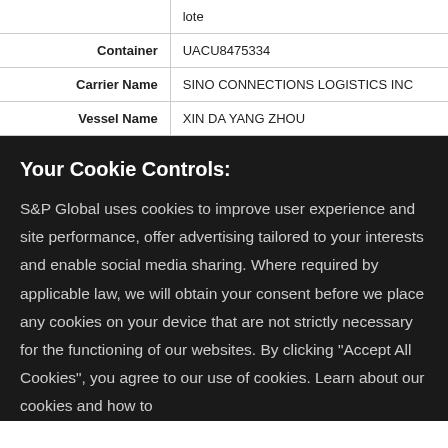|  | lote |
| Container | UACU8475334 |
| Carrier Name | SINO CONNECTIONS LOGISTICS INC |
| Vessel Name | XIN DA YANG ZHOU |
Your Cookie Controls:
S&P Global uses cookies to improve user experience and site performance, offer advertising tailored to your interests and enable social media sharing. Where required by applicable law, we will obtain your consent before we place any cookies on your device that are not strictly necessary for the functioning of our websites. By clicking "Accept All Cookies", you agree to our use of cookies. Learn about our cookies and how to